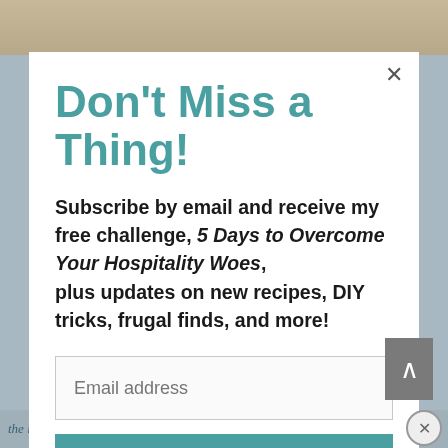Don't Miss a Thing!
Subscribe by email and receive my free challenge, 5 Days to Overcome Your Hospitality Woes, plus updates on new recipes, DIY tricks, frugal finds, and more!
Email address
SUBSCRIBE